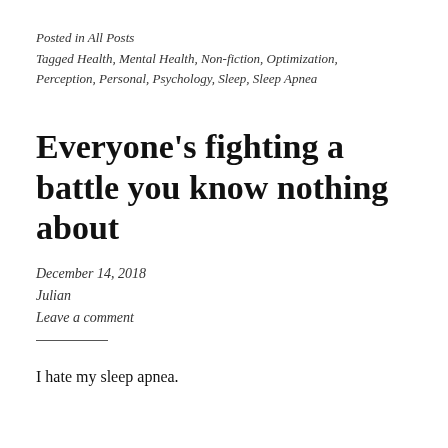Posted in All Posts
Tagged Health, Mental Health, Non-fiction, Optimization, Perception, Personal, Psychology, Sleep, Sleep Apnea
Everyone’s fighting a battle you know nothing about
December 14, 2018
Julian
Leave a comment
I hate my sleep apnea.